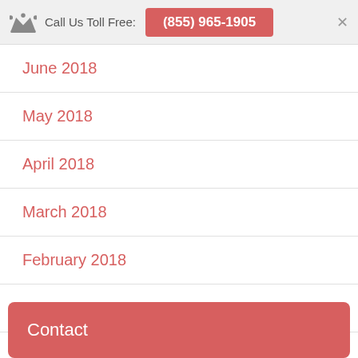Call Us Toll Free: (855) 965-1905
June 2018
May 2018
April 2018
March 2018
February 2018
January 2018
December 2017
Contact